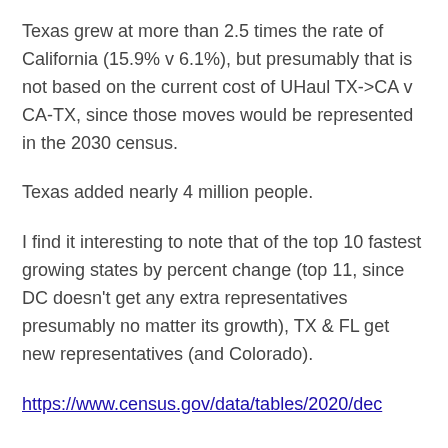Texas grew at more than 2.5 times the rate of California (15.9% v 6.1%), but presumably that is not based on the current cost of UHaul TX->CA v CA-TX, since those moves would be represented in the 2030 census.
Texas added nearly 4 million people.
I find it interesting to note that of the top 10 fastest growing states by percent change (top 11, since DC doesn't get any extra representatives presumably no matter its growth), TX & FL get new representatives (and Colorado).
https://www.census.gov/data/tables/2020/dec/...